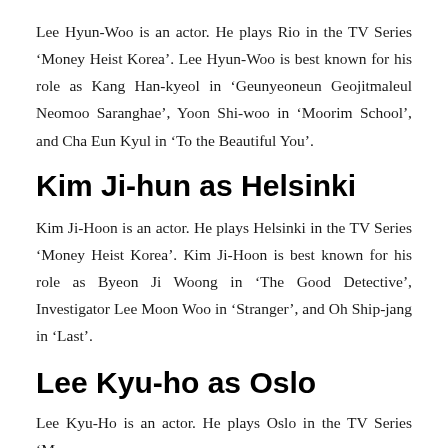Lee Hyun-Woo is an actor. He plays Rio in the TV Series ‘Money Heist Korea’. Lee Hyun-Woo is best known for his role as Kang Han-kyeol in ‘Geunyeoneun Geojitmaleul Neomoo Saranghae’, Yoon Shi-woo in ‘Moorim School’, and Cha Eun Kyul in ‘To the Beautiful You’.
Kim Ji-hun as Helsinki
Kim Ji-Hoon is an actor. He plays Helsinki in the TV Series ‘Money Heist Korea’. Kim Ji-Hoon is best known for his role as Byeon Ji Woong in ‘The Good Detective’, Investigator Lee Moon Woo in ‘Stranger’, and Oh Ship-jang in ‘Last’.
Lee Kyu-ho as Oslo
Lee Kyu-Ho is an actor. He plays Oslo in the TV Series ‘Money